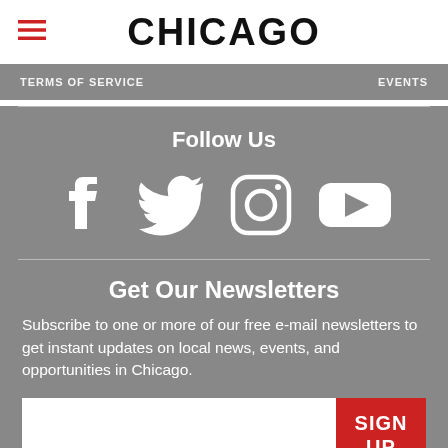CHICAGO
TERMS OF SERVICE    EVENTS
Follow Us
[Figure (illustration): Social media icons: Facebook, Twitter, Instagram, YouTube — white icons on gray background]
Get Our Newsletters
Subscribe to one or more of our free e-mail newsletters to get instant updates on local news, events, and opportunities in Chicago.
SIGN UP